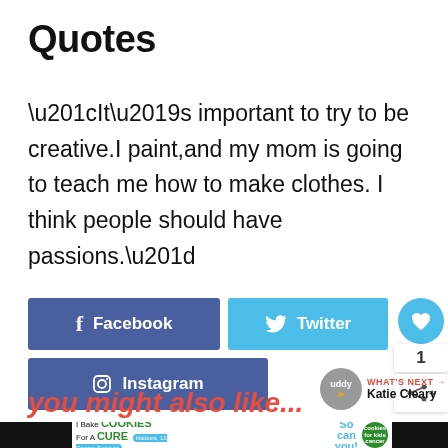Quotes
“It’s important to try to be creative.I paint,and my mom is going to teach me how to make clothes. I think people should have passions.”
[Figure (infographic): Social share buttons: Facebook (dark blue), Twitter (light blue), Instagram (dark blue), plus a heart badge with count 1 and a share icon]
[Figure (infographic): What's Next panel with buddy circle avatar and Katie Cleary name]
you might also like...
[Figure (infographic): Advertisement bar: I Bake COOKIES For A CURE - Haldora, 11 Cancer Survivor - So can you! - cookies for kids cancer logo]